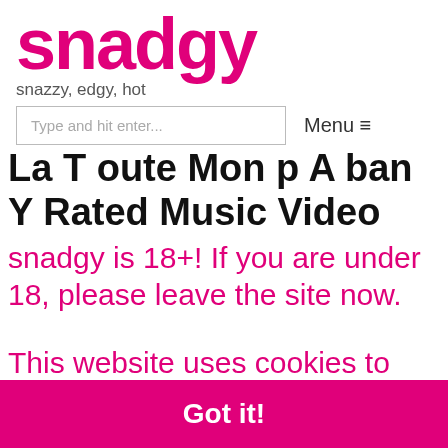snadgy
snazzy, edgy, hot
Type and hit enter...
Menu ≡
La T oute Mon p A ban Y Rated Music Video
snadgy is 18+! If you are under 18, please leave the site now.
This website uses cookies to ensure you get the best experience on our website.
Got it!